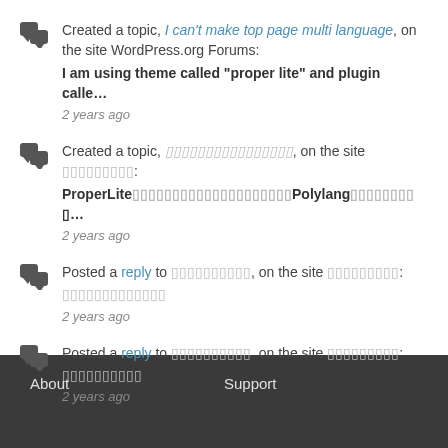Created a topic, I can't make top page multi language, on the site WordPress.org Forums: I am using theme called "proper lite" and plugin calle… 2 years ago
Created a topic, [Japanese text], on the site [Japanese text]: ProperLite[Japanese text]Polylang[Japanese text]... 2 years ago
Posted a reply to [Japanese text], on the site [Japanese text]: [Japanese text] 2 years ago
Posted a reply to [Japanese text], on the site [Japanese text]: [Japanese text] 2 years ago
About   Support